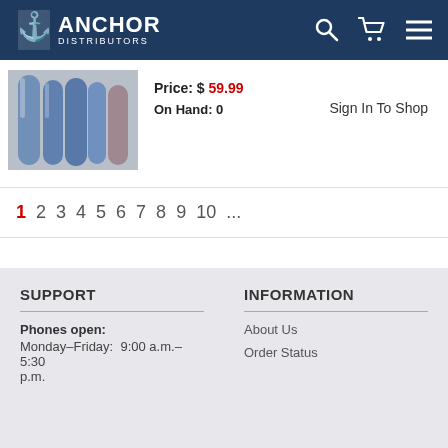Anchor Distributors
[Figure (photo): Product image showing blue cylindrical items]
Price: $ 59.99
On Hand: 0
Sign In To Shop
1 2 3 4 5 6 7 8 9 10 ...
SUPPORT
Phones open:
Monday–Friday: 9:00 a.m.–5:30 p.m.
INFORMATION
About Us
Order Status